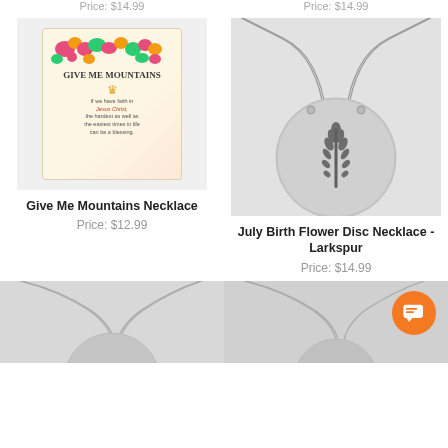Price: $14.99
[Figure (photo): Give Me Mountains necklace on a floral greeting card]
Give Me Mountains Necklace
Price: $12.99
[Figure (photo): July Birth Flower Disc Necklace - Larkspur, silver disc with larkspur flower engraving on chain]
July Birth Flower Disc Necklace - Larkspur
Price: $14.99
[Figure (photo): Partial view of another necklace product - bottom of page left]
[Figure (photo): Partial view of another necklace product - bottom of page right, with orange chat widget]